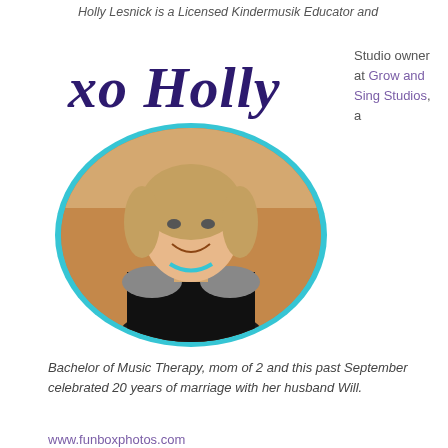Holly Lesnick is a Licensed Kindermusik Educator and
[Figure (illustration): Handwritten-style cursive script signature reading 'xo Holly' in dark purple/navy color]
Studio owner at Grow and Sing Studios, a
[Figure (photo): Oval portrait photo of a smiling woman with long light brown hair, wearing a black top and teal necklace, framed by a teal/turquoise oval border]
Bachelor of Music Therapy, mom of 2 and this past September celebrated 20 years of marriage with her husband Will.
www.funboxphotos.com
www.growandsing.com
[Figure (logo): Amazon.com logo with orange smile/arrow underneath, inside an orange-bordered rectangle]